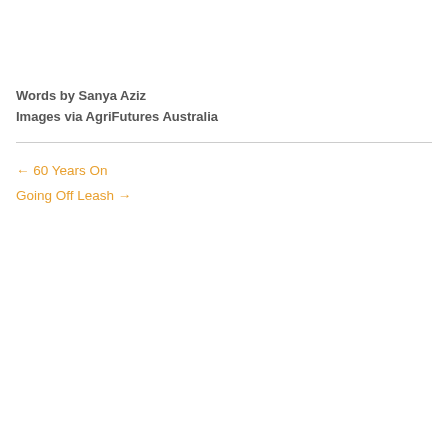Words by Sanya Aziz
Images via AgriFutures Australia
← 60 Years On
Going Off Leash →